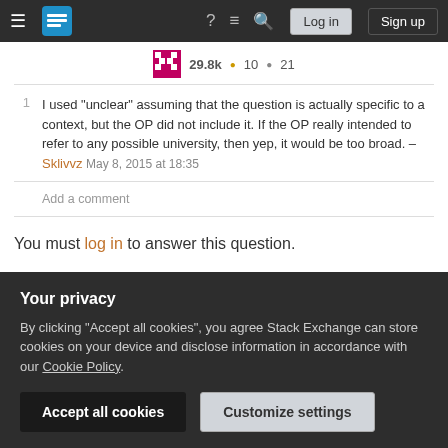Stack Exchange navigation bar with hamburger menu, logo, help, chat, search icons, Log in and Sign up buttons
29.8k • 10 • 21
1  I used "unclear" assuming that the question is actually specific to a context, but the OP did not include it. If the OP really intended to refer to any possible university, then yep, it would be too broad. – Sklivvz May 8, 2015 at 18:35
Add a comment
You must log in to answer this question.
Not the answer you're looking for? Browse other questions
Your privacy
By clicking "Accept all cookies", you agree Stack Exchange can store cookies on your device and disclose information in accordance with our Cookie Policy.
Accept all cookies
Customize settings
must have an account there to participate.